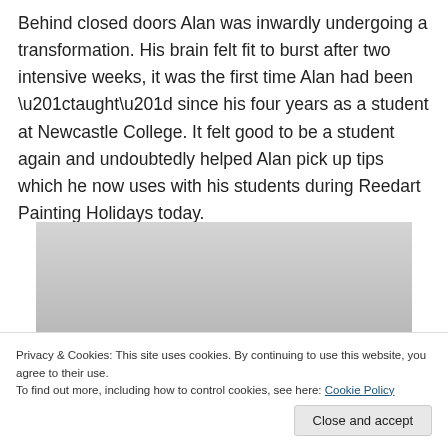Behind closed doors Alan was inwardly undergoing a transformation. His brain felt fit to burst after two intensive weeks, it was the first time Alan had been “taught” since his four years as a student at Newcastle College. It felt good to be a student again and undoubtedly helped Alan pick up tips which he now uses with his students during Reedart Painting Holidays today.
[Figure (photo): Black and white photograph of a person, showing the top of their head with dark hair. The image is partially visible, cropped.]
Privacy & Cookies: This site uses cookies. By continuing to use this website, you agree to their use.
To find out more, including how to control cookies, see here: Cookie Policy